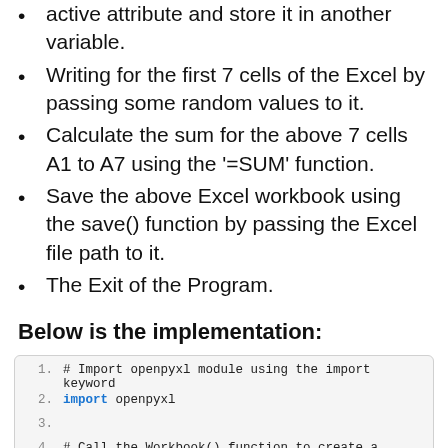active attribute and store it in another variable.
Writing for the first 7 cells of the Excel by passing some random values to it.
Calculate the sum for the above 7 cells A1 to A7 using the '=SUM' function.
Save the above Excel workbook using the save() function by passing the Excel file path to it.
The Exit of the Program.
Below is the implementation:
[Figure (screenshot): Code block showing Python openpyxl implementation with line numbers. Lines: 1: # Import openpyxl module using the import keyword, 2: import openpyxl, 3: (blank), 4: # Call the Workbook() function to create a workbook object and store it in a variable., 5: work_book = openpyxl.Workbook(), 6: (blank)]